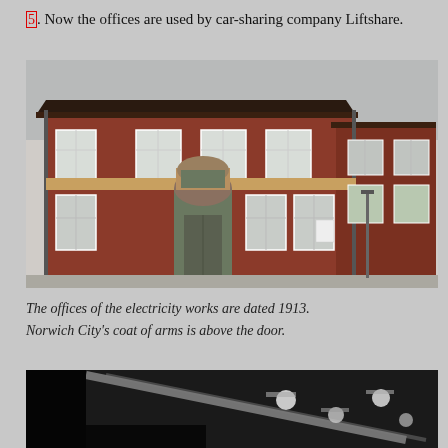[5]. Now the offices are used by car-sharing company Liftshare.
[Figure (photo): Photograph of a red brick building with multiple windows and an arched doorway entrance, dated 1913, the offices of the electricity works in Norwich.]
The offices of the electricity works are dated 1913. Norwich City's coat of arms is above the door.
[Figure (photo): Black and white photograph, partially visible at bottom of page, showing industrial equipment or machinery with lights.]